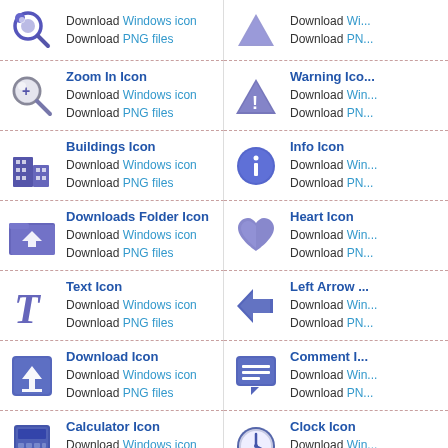Download Windows icon
Download PNG files
Download Windows icon
Download PNG files
Zoom In Icon
Download Windows icon
Download PNG files
Warning Icon
Download Windows icon
Download PNG files
Buildings Icon
Download Windows icon
Download PNG files
Info Icon
Download Windows icon
Download PNG files
Downloads Folder Icon
Download Windows icon
Download PNG files
Heart Icon
Download Windows icon
Download PNG files
Text Icon
Download Windows icon
Download PNG files
Left Arrow
Download Windows icon
Download PNG files
Download Icon
Download Windows icon
Download PNG files
Comment Icon
Download Windows icon
Download PNG files
Calculator Icon
Download Windows icon
Download PNG files
Clock Icon
Download Windows icon
Download PNG files